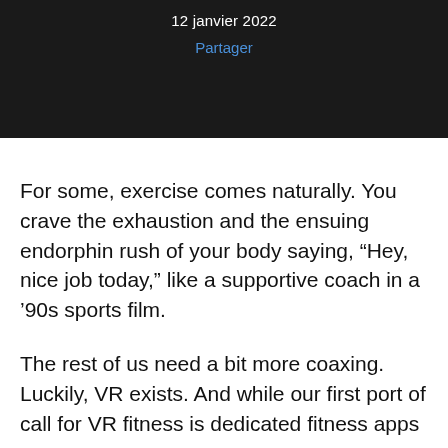12 janvier 2022
Partager
For some, exercise comes naturally. You crave the exhaustion and the ensuing endorphin rush of your body saying, “Hey, nice job today,” like a supportive coach in a ’90s sports film.
The rest of us need a bit more coaxing. Luckily, VR exists. And while our first port of call for VR fitness is dedicated fitness apps